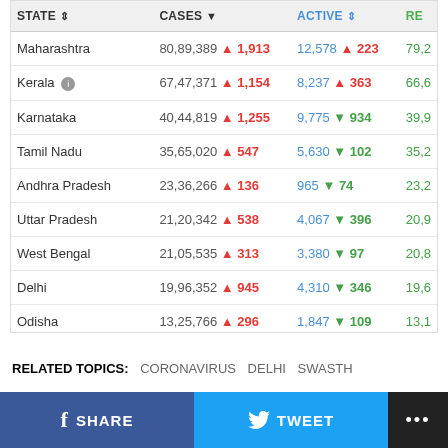| STATE | CASES | ACTIVE | RE |
| --- | --- | --- | --- |
| Maharashtra | 80,89,389 ▲ 1,913 | 12,578 ▲ 223 | 79,2 |
| Kerala | 67,47,371 ▲ 1,154 | 8,237 ▲ 363 | 66,6 |
| Karnataka | 40,44,819 ▲ 1,255 | 9,775 ▼ 934 | 39,9 |
| Tamil Nadu | 35,65,020 ▲ 547 | 5,630 ▼ 102 | 35,2 |
| Andhra Pradesh | 23,36,266 ▲ 136 | 965 ▼ 74 | 23,2 |
| Uttar Pradesh | 21,20,342 ▲ 538 | 4,067 ▼ 396 | 20,9 |
| West Bengal | 21,05,535 ▲ 313 | 3,380 ▼ 97 | 20,8 |
| Delhi | 19,96,352 ▲ 945 | 4,310 ▼ 346 | 19,6 |
| Odisha | 13,25,766 ▲ 296 | 1,847 ▼ 109 | 13,1 |
RELATED TOPICS: CORONAVIRUS DELHI SWASTH
SHARE  TWEET  ...